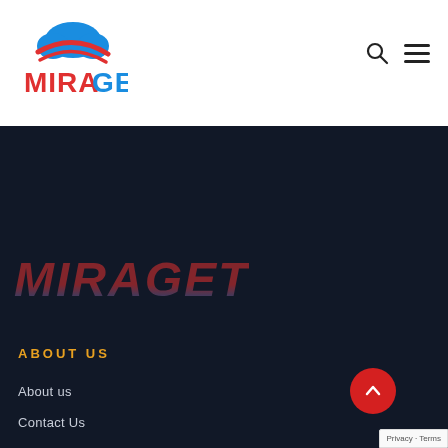[Figure (logo): MIRAGET logo with cloud and swoosh graphic above red MIRAGET text]
[Figure (other): Search icon (magnifying glass) and hamburger menu icon in top right]
[Figure (logo): Large italic semi-transparent MIRAGET text in dark footer area]
ABOUT US
About us
Contact Us
Pricing
Accuracy
Terms & Conditions
Privacy Policy